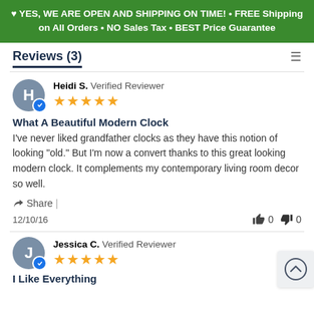♥ YES, WE ARE OPEN AND SHIPPING ON TIME! • FREE Shipping on All Orders • NO Sales Tax • BEST Price Guarantee
Reviews (3)
Heidi S. Verified Reviewer
What A Beautiful Modern Clock
I've never liked grandfather clocks as they have this notion of looking "old." But I'm now a convert thanks to this great looking modern clock. It complements my contemporary living room decor so well.
Share |
12/10/16
Jessica C. Verified Reviewer
I Like Everything